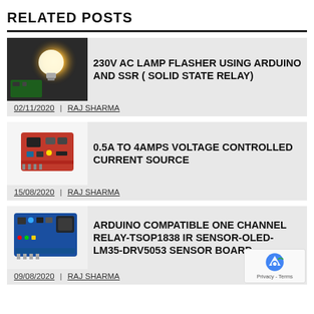RELATED POSTS
230V AC LAMP FLASHER USING ARDUINO AND SSR ( SOLID STATE RELAY) | 02/11/2020 | RAJ SHARMA
0.5A TO 4AMPS VOLTAGE CONTROLLED CURRENT SOURCE | 15/08/2020 | RAJ SHARMA
ARDUINO COMPATIBLE ONE CHANNEL RELAY-TSOP1838 IR SENSOR-OLED-LM35-DRV5053 SENSOR BOARD | 09/08/2020 | RAJ SHARMA